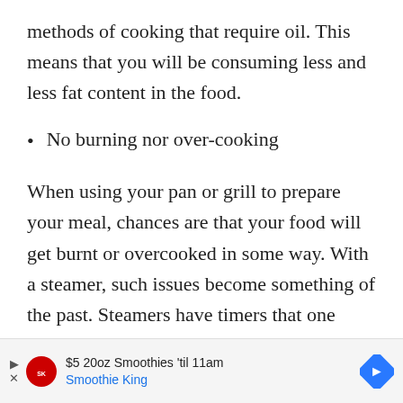methods of cooking that require oil. This means that you will be consuming less and less fat content in the food.
No burning nor over-cooking
When using your pan or grill to prepare your meal, chances are that your food will get burnt or overcooked in some way. With a steamer, such issues become something of the past. Steamers have timers that one
[Figure (other): Advertisement banner for Smoothie King: $5 20oz Smoothies 'til 11am, Smoothie King]